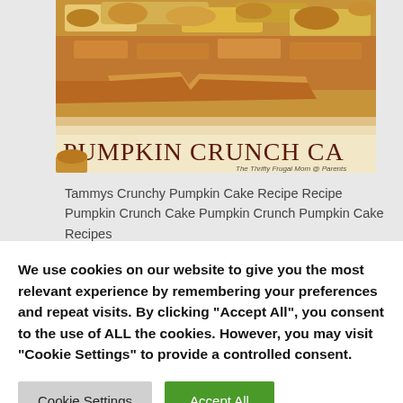[Figure (photo): Close-up photo of pumpkin crunch cake pieces with crumbly topping, with overlay text 'PUMPKIN CRUNCH CA' and subtitle 'The Thrifty Frugal Mom @ Parents']
Tammys Crunchy Pumpkin Cake Recipe Recipe Pumpkin Crunch Cake Pumpkin Crunch Pumpkin Cake Recipes
We use cookies on our website to give you the most relevant experience by remembering your preferences and repeat visits. By clicking "Accept All", you consent to the use of ALL the cookies. However, you may visit "Cookie Settings" to provide a controlled consent.